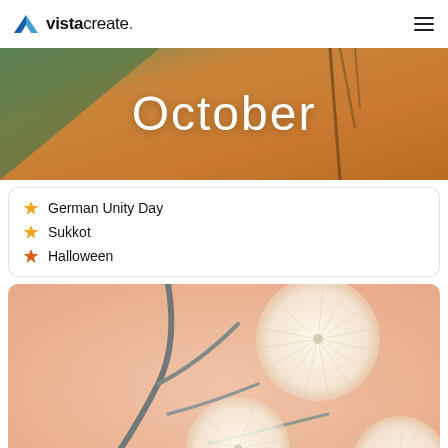vistacreate
[Figure (photo): October banner with warm autumn background (green, orange, brown tones) and white 'October' text, with branch stems visible]
German Unity Day
Sukkot
Halloween
[Figure (photo): Close-up photo of white fluffy dandelion-like seed balls on dark branches against a peach/salmon background]